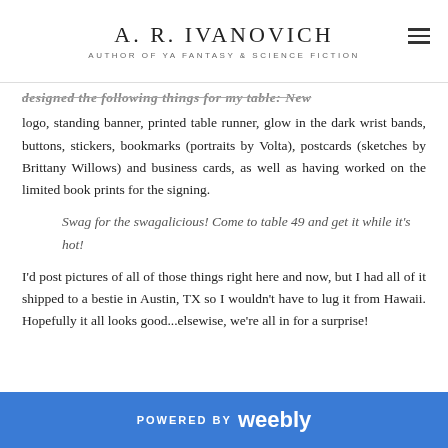A. R. IVANOVICH
AUTHOR OF YA FANTASY & SCIENCE FICTION
designed the following things for my table: New logo, standing banner, printed table runner, glow in the dark wrist bands, buttons, stickers, bookmarks (portraits by Volta), postcards (sketches by Brittany Willows) and business cards, as well as having worked on the limited book prints for the signing.
Swag for the swagalicious! Come to table 49 and get it while it's hot!
I'd post pictures of all of those things right here and now, but I had all of it shipped to a bestie in Austin, TX so I wouldn't have to lug it from Hawaii. Hopefully it all looks good...elsewise, we're all in for a surprise!
POWERED BY weebly